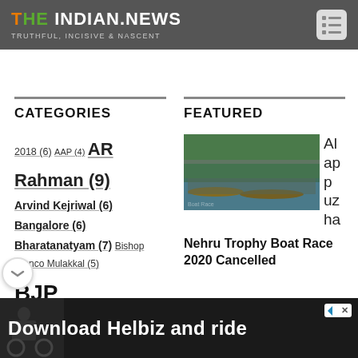THE INDIAN.NEWS — TRUTHFUL, INCISIVE & NASCENT
CATEGORIES
2018 (6)
AAP (4)
AR Rahman (9)
Arvind Kejriwal (6)
Bangalore (6)
Bharatanatyam (7)
Bishop Franco Mulakkal (5)
BJP (16)
Chennai (7)
FEATURED
[Figure (photo): Aerial view of Nehru Trophy Boat Race with many boats and crowd on water]
Alappuzha
Nehru Trophy Boat Race 2020 Cancelled
[Figure (photo): Advertisement banner: Download Helbiz and ride — showing person with scooter]